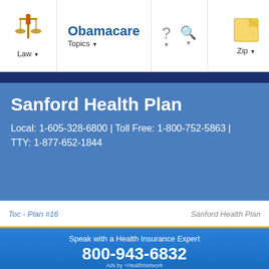Law | Obamacare Topics | ? | Search | Zip
Sanford Health Plan
Local: 1-605-328-6800 | Toll Free: 1-800-752-5863 | TTY: 1-877-652-1844
Toc - Plan #16    Sanford Health Plan
Speak with a Health Insurance Expert
800-943-6832
Ads by +HealthNetwork